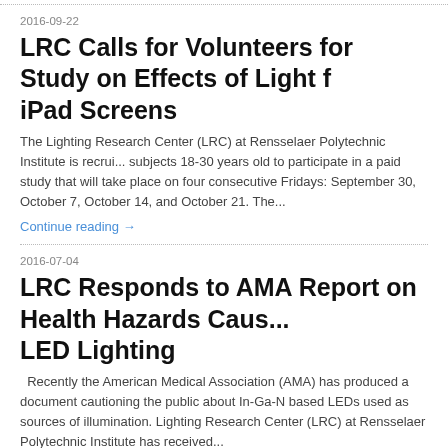2016-09-22
LRC Calls for Volunteers for Study on Effects of Light f... iPad Screens
The Lighting Research Center (LRC) at Rensselaer Polytechnic Institute is recruiting subjects 18-30 years old to participate in a paid study that will take place on four consecutive Fridays: September 30, October 7, October 14, and October 21. The...
Continue reading →
2016-07-04
LRC Responds to AMA Report on Health Hazards Caus... LED Lighting
Recently the American Medical Association (AMA) has produced a document cautioning the public about In-Ga-N based LEDs used as sources of illumination. Lighting Research Center (LRC) at Rensselaer Polytechnic Institute has received...
Continue reading →
2015-11-13
LRC Launches Interactive Lighting Design Website to...